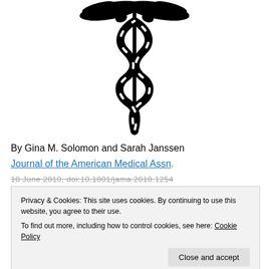[Figure (illustration): Caduceus medical symbol — a staff with two intertwined snakes and wings at the top, rendered in black silhouette]
By Gina M. Solomon and Sarah Janssen
Journal of the American Medical Assn.
10 June 2010, doi:10.1001/jama.2010.1254 (partially obscured)
Privacy & Cookies: This site uses cookies. By continuing to use this website, you agree to their use.
To find out more, including how to control cookies, see here: Cookie Policy
safety and mental health. Physicians should be familiar